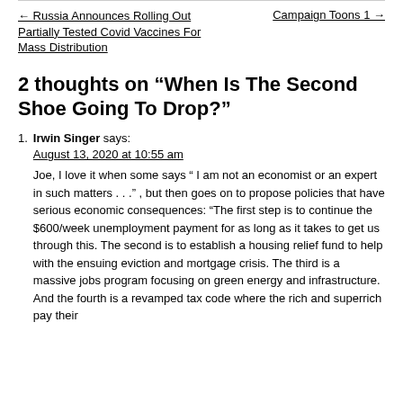← Russia Announces Rolling Out Partially Tested Covid Vaccines For Mass Distribution | Campaign Toons 1 →
2 thoughts on “When Is The Second Shoe Going To Drop?”
Irwin Singer says: August 13, 2020 at 10:55 am — Joe, I love it when some says " I am not an economist or an expert in such matters . . ." , but then goes on to propose policies that have serious economic consequences: "The first step is to continue the $600/week unemployment payment for as long as it takes to get us through this. The second is to establish a housing relief fund to help with the ensuing eviction and mortgage crisis. The third is a massive jobs program focusing on green energy and infrastructure. And the fourth is a revamped tax code where the rich and superrich pay their